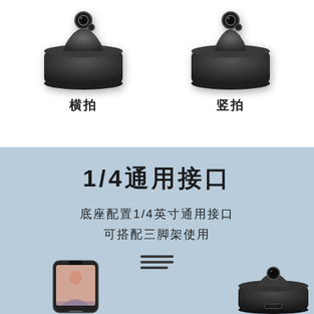[Figure (photo): Two dark grey conical smart camera devices shown side by side on white background]
横拍
竖拍
[Figure (infographic): Light blue promotional banner with large bold Chinese text '1/4通用接口', subtitle '底座配置1/4英寸通用接口 可搭配三脚架使用', a menu/lines icon, a phone showing a person, and a camera device at the bottom]
1/4通用接口
底座配置1/4英寸通用接口
可搭配三脚架使用